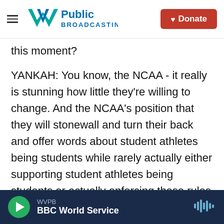WV Public Broadcasting | Donate
this moment?
YANKAH: You know, the NCAA - it really is stunning how little they're willing to change. And the NCAA's position that they will stonewall and turn their back and offer words about student athletes being students while rarely actually either supporting student athletes being students or actually enforcing these rules if it can cost them money means that the NCAA has found it has no friends left. It has no friends, in some sense, on the right, who see this as a way of restricting business interest in people's individual liberties. It has no
WVPB | BBC World Service